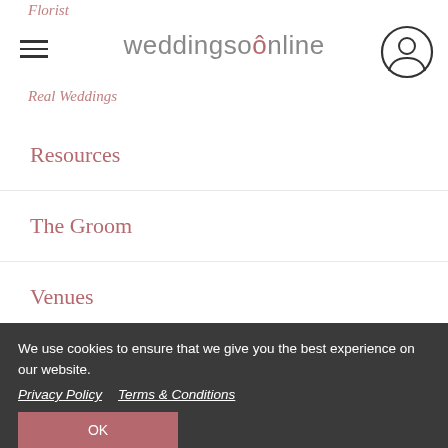Florist | weddingsonline | Real Weddings
Resources
The Groom
Venues
Wedding Dresses
Wedding Venues
WOL Awards
We use cookies to ensure that we give you the best experience on our website. Privacy Policy   Terms & Conditions
Related Suppliers